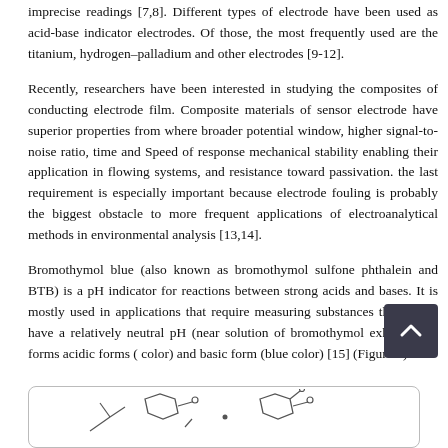imprecise readings [7,8]. Different types of electrode have been used as acid-base indicator electrodes. Of those, the most frequently used are the titanium, hydrogen–palladium and other electrodes [9-12].
Recently, researchers have been interested in studying the composites of conducting electrode film. Composite materials of sensor electrode have superior properties from where broader potential window, higher signal-to-noise ratio, time and Speed of response mechanical stability enabling their application in flowing systems, and resistance toward passivation. the last requirement is especially important because electrode fouling is probably the biggest obstacle to more frequent applications of electroanalytical methods in environmental analysis [13,14].
Bromothymol blue (also known as bromothymol sulfone phthalein and BTB) is a pH indicator for reactions between strong acids and bases. It is mostly used in applications that require measuring substances that would have a relatively neutral pH (near solution of bromothymol exhibits two forms acidic forms ( color) and basic form (blue color) [15] (Figure 1).
[Figure (illustration): Chemical structure diagram of bromothymol blue showing two molecular forms (acidic and basic), partially visible at the bottom of the page.]